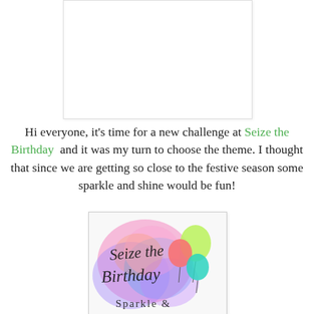[Figure (photo): Top image placeholder — white rectangle with light border, appears to be a card or photo region]
Hi everyone, it's time for a new challenge at Seize the Birthday  and it was my turn to choose the theme. I thought that since we are getting so close to the festive season some sparkle and shine would be fun!
[Figure (illustration): Seize the Birthday logo — colorful watercolor splashes in pink, blue, purple with balloons and cursive text reading 'Seize the Birthday' and 'Sparkle &']